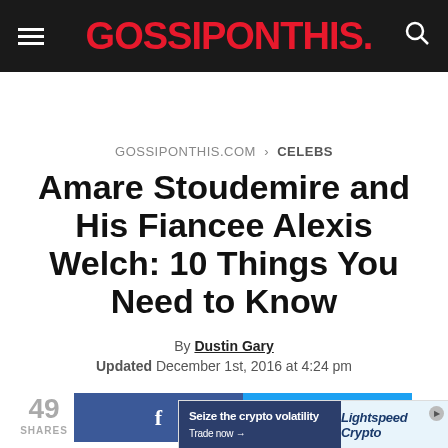GOSSIPONTHIS.
GOSSIPONTHIS.COM › CELEBS
Amare Stoudemire and His Fiancee Alexis Welch: 10 Things You Need to Know
By Dustin Gary
Updated December 1st, 2016 at 4:24 pm
49 SHARES
[Figure (screenshot): Advertisement banner: Seize the crypto volatility - Trade now → | Lightspeed Crypto logo]